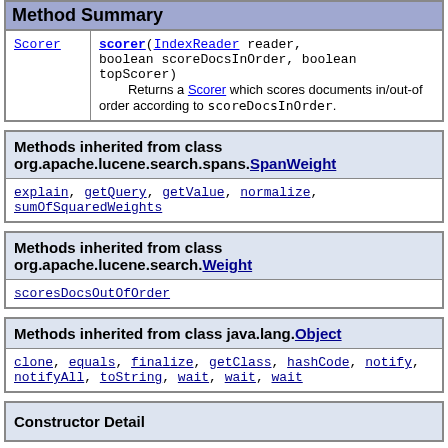Method Summary
| Return Type | Method |
| --- | --- |
| Scorer | scorer(IndexReader reader, boolean scoreDocsInOrder, boolean topScorer)
        Returns a Scorer which scores documents in/out-of order according to scoreDocsInOrder. |
Methods inherited from class org.apache.lucene.search.spans.SpanWeight
explain, getQuery, getValue, normalize, sumOfSquaredWeights
Methods inherited from class org.apache.lucene.search.Weight
scoresDocsOutOfOrder
Methods inherited from class java.lang.Object
clone, equals, finalize, getClass, hashCode, notify, notifyAll, toString, wait, wait, wait
Constructor Detail